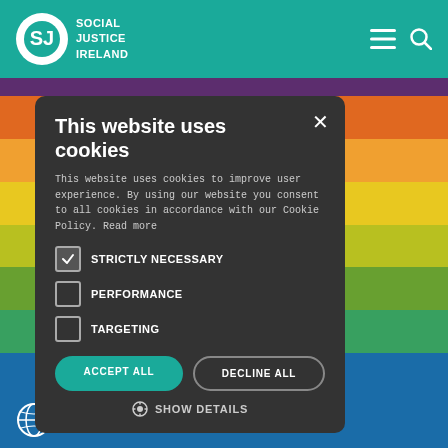Social Justice Ireland
[Figure (screenshot): Cookie consent modal dialog on Social Justice Ireland website. Modal has dark background with title 'This website uses cookies', body text about cookie policy, checkboxes for STRICTLY NECESSARY (checked), PERFORMANCE (unchecked), TARGETING (unchecked), ACCEPT ALL and DECLINE ALL buttons, and SHOW DETAILS link. Background shows rainbow-colored horizontal stripes.]
This website uses cookies
This website uses cookies to improve user experience. By using our website you consent to all cookies in accordance with our Cookie Policy. Read more
STRICTLY NECESSARY
PERFORMANCE
TARGETING
ACCEPT ALL
DECLINE ALL
SHOW DETAILS
Global South